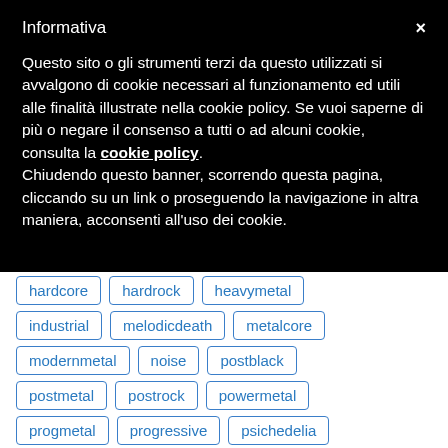Informativa
Questo sito o gli strumenti terzi da questo utilizzati si avvalgono di cookie necessari al funzionamento ed utili alle finalità illustrate nella cookie policy. Se vuoi saperne di più o negare il consenso a tutti o ad alcuni cookie, consulta la cookie policy.
Chiudendo questo banner, scorrendo questa pagina, cliccando su un link o proseguendo la navigazione in altra maniera, acconsenti all'uso dei cookie.
hardcore
hardrock
heavymetal
industrial
melodicdeath
metalcore
modernmetal
noise
postblack
postmetal
postrock
powermetal
progmetal
progressive
psichedelia